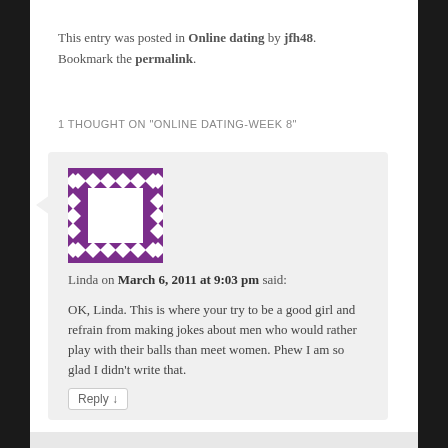This entry was posted in Online dating by jfh48. Bookmark the permalink.
1 THOUGHT ON “ONLINE DATING-WEEK 8”
[Figure (illustration): Purple decorative avatar icon with diamond/square pattern border]
Linda on March 6, 2011 at 9:03 pm said:
OK, Linda. This is where your try to be a good girl and refrain from making jokes about men who would rather play with their balls than meet women. Phew I am so glad I didn’t write that.